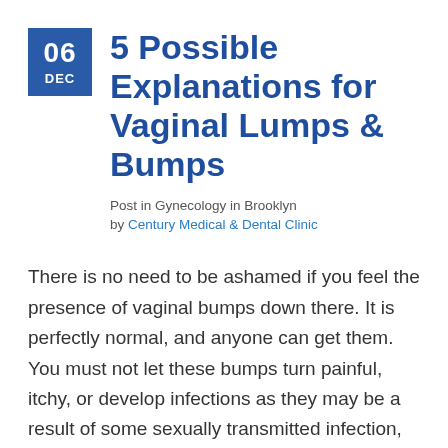5 Possible Explanations for Vaginal Lumps & Bumps
Post in Gynecology in Brooklyn
by Century Medical & Dental Clinic
There is no need to be ashamed if you feel the presence of vaginal bumps down there. It is perfectly normal, and anyone can get them. You must not let these bumps turn painful, itchy, or develop infections as they may be a result of some sexually transmitted infection, and turn complicated if not addressed [...]